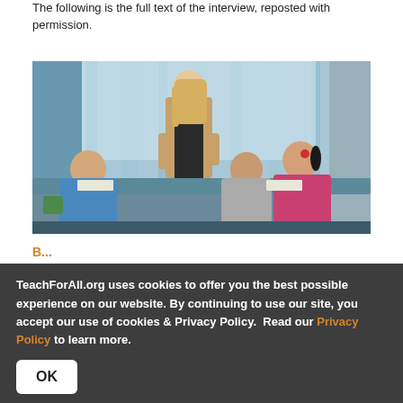The following is the full text of the interview, reposted with permission.
[Figure (photo): A blonde female teacher standing over a classroom table with children seated, looking at their work. Children appear to be of East Asian descent. Blue curtains in the background. Classroom setting.]
B...
TeachForAll.org uses cookies to offer you the best possible experience on our website. By continuing to use our site, you accept our use of cookies & Privacy Policy. Read our Privacy Policy to learn more.